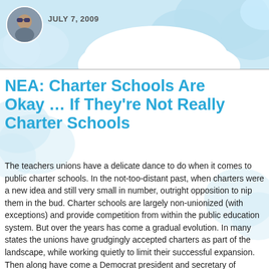JULY 7, 2009
[Figure (illustration): Circular avatar photo of a person wearing goggles, used as a blog author profile picture]
NEA: Charter Schools Are Okay … If They're Not Really Charter Schools
The teachers unions have a delicate dance to do when it comes to public charter schools. In the not-too-distant past, when charters were a new idea and still very small in number, outright opposition to nip them in the bud. Charter schools are largely non-unionized (with exceptions) and provide competition from within the public education system. But over the years has come a gradual evolution. In many states the unions have grudgingly accepted charters as part of the landscape, while working quietly to limit their successful expansion. Then along have come a Democrat president and secretary of education who advocate more charter-friendly policies. Union officials aren't about to give in to the more radical anti-charter elements of their membership, but they